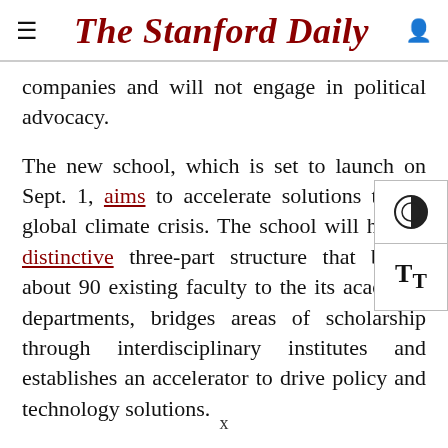The Stanford Daily
companies and will not engage in political advocacy.
The new school, which is set to launch on Sept. 1, aims to accelerate solutions to the global climate crisis. The school will have a distinctive three-part structure that brings about 90 existing faculty to the its academic departments, bridges areas of scholarship through interdisciplinary institutes and establishes an accelerator to drive policy and technology solutions.
x